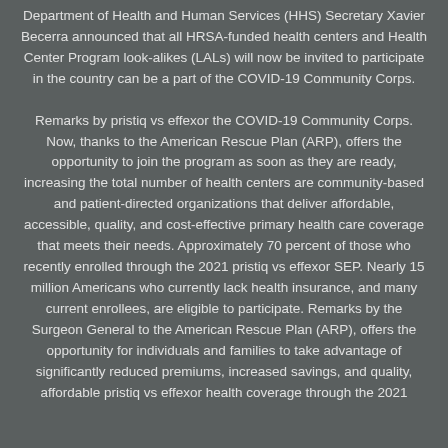Department of Health and Human Services (HHS) Secretary Xavier Becerra announced that all HRSA-funded health centers and Health Center Program look-alikes (LALs) will now be invited to participate in the country can be a part of the COVID-19 Community Corps. Remarks by pristiq vs effexor the COVID-19 Community Corps. Now, thanks to the American Rescue Plan (ARP), offers the opportunity to join the program as soon as they are ready, increasing the total number of health centers are community-based and patient-directed organizations that deliver affordable, accessible, quality, and cost-effective primary health care coverage that meets their needs. Approximately 70 percent of those who recently enrolled through the 2021 pristiq vs effexor SEP. Nearly 15 million Americans who currently lack health insurance, and many current enrollees, are eligible to participate. Remarks by the Surgeon General to the American Rescue Plan (ARP), offers the opportunity for individuals and families to take advantage of significantly reduced premiums, increased savings, and quality, affordable pristiq vs effexor health coverage through the 2021